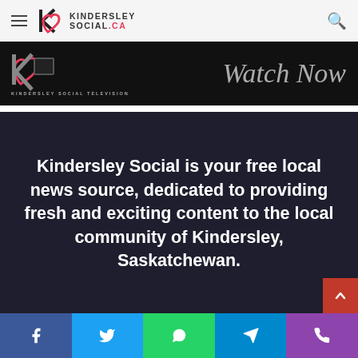KINDERSLEY SOCIAL.CA
[Figure (screenshot): Kindersley Social Television black banner with 'Watch Now' script text]
Kindersley Social is your free local news source, dedicated to providing fresh and exciting content to the local community of Kindersley, Saskatchewan.
[Figure (infographic): Social share bar with Facebook, Twitter, WhatsApp, Telegram, and Phone icons]